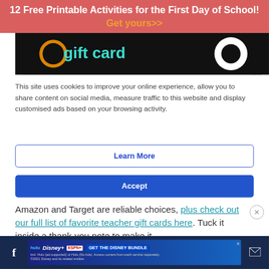12 Free Printable Activities for the First Day of School! Get yours>>
[Figure (photo): Gift card image strip showing dark background with 'gift card' text in teal and Amazon/Target logos]
This site uses cookies to improve your online experience, allow you to share content on social media, measure traffic to this website and display customised ads based on your browsing activity.
Learn More
Accept
Amazon and Target are reliable choices, plus check out our full list of favorite teacher gift cards here. Tuck it inside a thank-you note to make it
[Figure (infographic): Disney Bundle advertisement banner: hulu, Disney+, ESPN+ logos with 'GET THE DISNEY BUNDLE' call to action. Incl. Hulu (ad-supported) or Hulu (No Ads). Access content from each service separately. ©2021 Disney and its related entities]
Facebook share icon | Disney Bundle ad | Mail icon